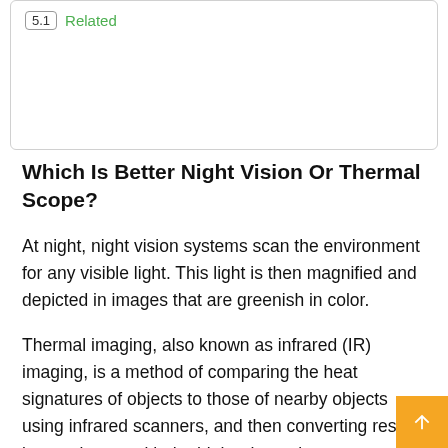5.1 Related
Which Is Better Night Vision Or Thermal Scope?
At night, night vision systems scan the environment for any visible light. This light is then magnified and depicted in images that are greenish in color.
Thermal imaging, also known as infrared (IR) imaging, is a method of comparing the heat signatures of objects to those of nearby objects using infrared scanners, and then converting results into an image with the higher heat signatures highlighted brighter and easier to see.